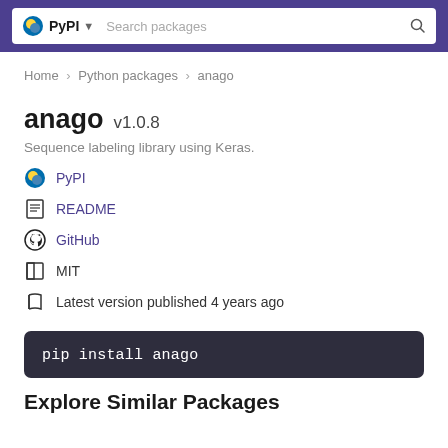PyPI  Search packages
Home > Python packages > anago
anago v1.0.8
Sequence labeling library using Keras.
PyPI
README
GitHub
MIT
Latest version published 4 years ago
pip install anago
Explore Similar Packages